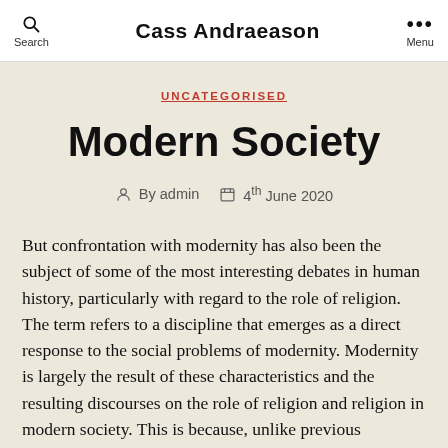Cass Andraeason | Search | Menu
UNCATEGORISED
Modern Society
By admin | 4th June 2020
But confrontation with modernity has also been the subject of some of the most interesting debates in human history, particularly with regard to the role of religion. The term refers to a discipline that emerges as a direct response to the social problems of modernity. Modernity is largely the result of these characteristics and the resulting discourses on the role of religion and religion in modern society. This is because, unlike previous